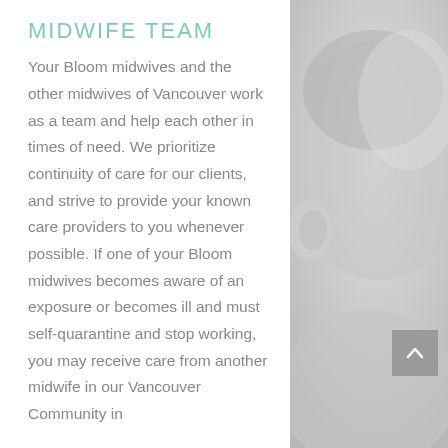MIDWIFE TEAM
Your Bloom midwives and the other midwives of Vancouver work as a team and help each other in times of need. We prioritize continuity of care for our clients, and strive to provide your known care providers to you whenever possible. If one of your Bloom midwives becomes aware of an exposure or becomes ill and must self-quarantine and stop working, you may receive care from another midwife in our Vancouver Community in
[Figure (photo): Grayscale close-up photo of a baby's head/ear area, used as a background image on the right side of the page]